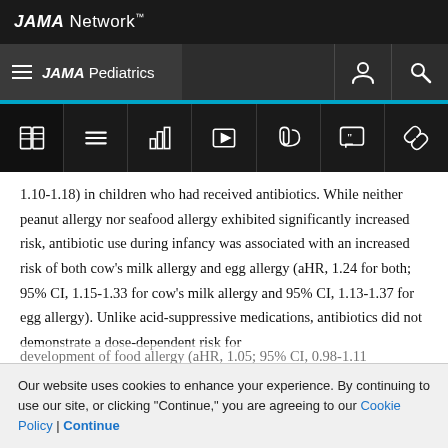JAMA Network
JAMA Pediatrics
[Figure (screenshot): JAMA Network website toolbar with icons: book/read, menu, bar-chart, video, paperclip, quote, link]
1.10-1.18) in children who had received antibiotics. While neither peanut allergy nor seafood allergy exhibited significantly increased risk, antibiotic use during infancy was associated with an increased risk of both cow's milk allergy and egg allergy (aHR, 1.24 for both; 95% CI, 1.15-1.33 for cow's milk allergy and 95% CI, 1.13-1.37 for egg allergy). Unlike acid-suppressive medications, antibiotics did not demonstrate a dose-dependent risk for development of food allergy (aHR, 1.05; 95% CI, 0.98-1.11...
Our website uses cookies to enhance your experience. By continuing to use our site, or clicking "Continue," you are agreeing to our Cookie Policy | Continue